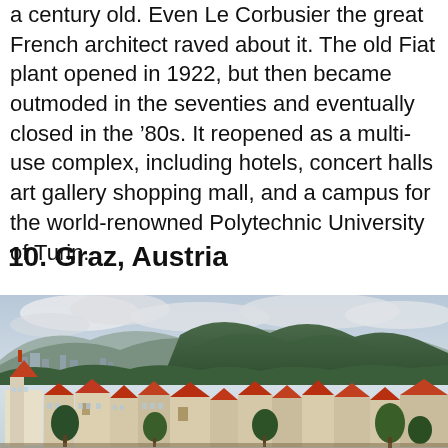a century old. Even Le Corbusier the great French architect raved about it. The old Fiat plant opened in 1922, but then became outmoded in the seventies and eventually closed in the '80s. It reopened as a multi-use complex, including hotels, concert halls art gallery shopping mall, and a campus for the world-renowned Polytechnic University of Turin.
10. Graz, Austria
[Figure (photo): Aerial/panoramic view of Graz, Austria showing red-roofed historic buildings in the foreground, a wooded hill in the middle ground, and mountains in the background under a cloudy sky.]